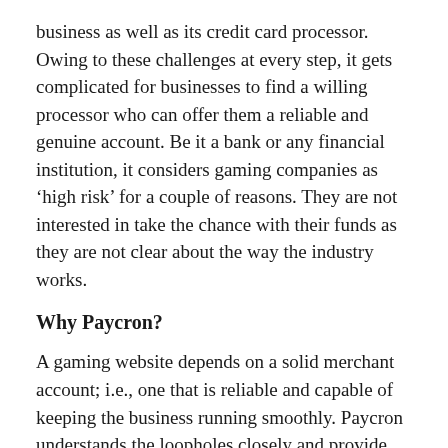business as well as its credit card processor. Owing to these challenges at every step, it gets complicated for businesses to find a willing processor who can offer them a reliable and genuine account. Be it a bank or any financial institution, it considers gaming companies as 'high risk' for a couple of reasons. They are not interested in take the chance with their funds as they are not clear about the way the industry works.
Why Paycron?
A gaming website depends on a solid merchant account; i.e., one that is reliable and capable of keeping the business running smoothly. Paycron understands the loopholes closely and provide gaming merchants that meet match the expectations of the clients.
Here is what you can expect by collaborating with us: